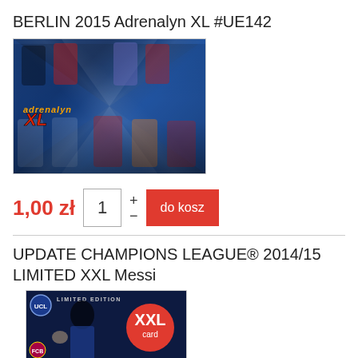BERLIN 2015 Adrenalyn XL #UE142
[Figure (photo): Adrenalyn XL trading card product image showing multiple football players on a blue/dark background with the Adrenalyn XL logo]
1,00 zł
1
do kosz
UPDATE CHAMPIONS LEAGUE® 2014/15 LIMITED XXL Messi
[Figure (photo): Champions League 2014/15 Limited Edition XXL card featuring Messi, with UEFA Champions League branding, Barcelona badge, and a large red XXL card badge]